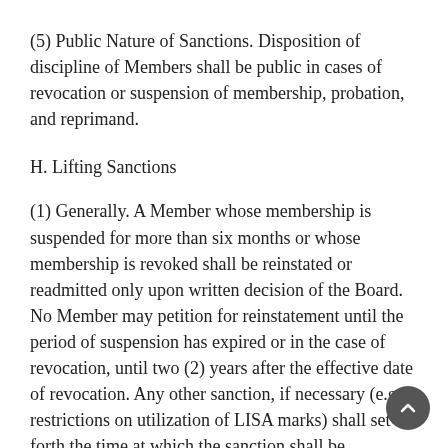(5) Public Nature of Sanctions. Disposition of discipline of Members shall be public in cases of revocation or suspension of membership, probation, and reprimand.
H. Lifting Sanctions
(1) Generally. A Member whose membership is suspended for more than six months or whose membership is revoked shall be reinstated or readmitted only upon written decision of the Board. No Member may petition for reinstatement until the period of suspension has expired or in the case of revocation, until two (2) years after the effective date of revocation. Any other sanction, if necessary (e.g., restrictions on utilization of LISA marks) shall set forth the time at which the sanction shall be